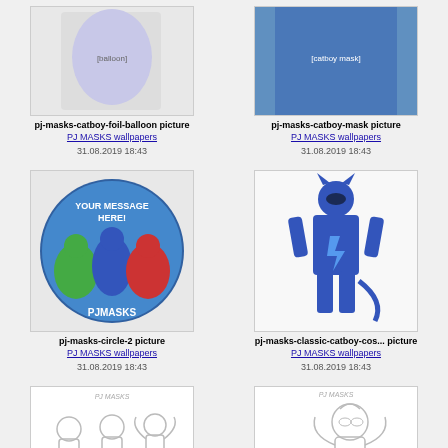[Figure (photo): PJ Masks catboy foil balloon image - partial top portion visible]
pj-masks-catboy-foil-balloon picture
PJ MASKS wallpapers
31.08.2019 18:43
[Figure (photo): PJ Masks catboy mask picture - partial top portion visible]
pj-masks-catboy-mask picture
PJ MASKS wallpapers
31.08.2019 18:43
[Figure (photo): PJ Masks circle-2 picture showing all three PJ Masks characters in a circular frame with YOUR MESSAGE HERE text]
pj-masks-circle-2 picture
PJ MASKS wallpapers
31.08.2019 18:43
[Figure (photo): PJ Masks classic catboy costume picture showing child in blue catboy costume]
pj-masks-classic-catboy-costume picture
PJ MASKS wallpapers
31.08.2019 18:43
[Figure (illustration): PJ Masks coloring page with three characters outlined in black and white]
[Figure (illustration): PJ Masks coloring pages black and white character illustration]
pj-masks-coloring-pages-black...